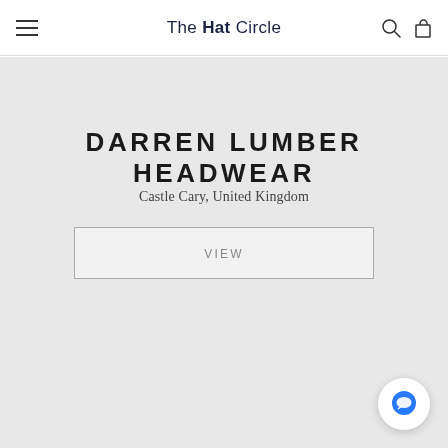The Hat Circle
DARREN LUMBER HEADWEAR
Castle Cary, United Kingdom
VIEW